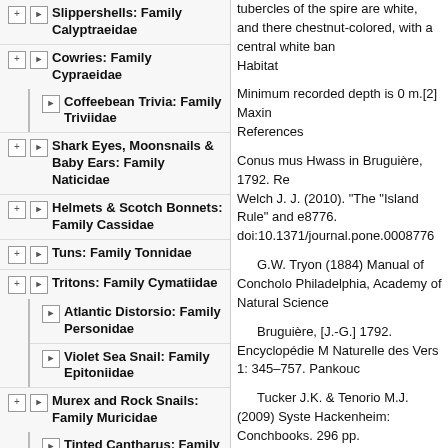Slippershells: Family Calyptraeidae
Cowries: Family Cypraeidae
Coffeebean Trivia: Family Triviidae
Shark Eyes, Moonsnails & Baby Ears: Family Naticidae
Helmets & Scotch Bonnets: Family Cassidae
Tuns: Family Tonnidae
Tritons: Family Cymatiidae
Atlantic Distorsio: Family Personidae
Violet Sea Snail: Family Epitoniidae
Murex and Rock Snails: Family Muricidae
Tinted Cantharus: Family Pisaniidae
Whelks: Family Buccinidae
Mudsnails: Family
tubercles of the spire are white, and there chestnut-colored, with a central white ban Habitat
Minimum recorded depth is 0 m.[2] Maxin References
Conus mus Hwass in Bruguière, 1792. Re Welch J. J. (2010). "The "Island Rule" and e8776. doi:10.1371/journal.pone.0008776
G.W. Tryon (1884) Manual of Concholo Philadelphia, Academy of Natural Science
Bruguière, [J.-G.] 1792. Encyclopédie M Naturelle des Vers 1: 345–757. Pankouc
Tucker J.K. & Tenorio M.J. (2009) Syste Hackenheim: Conchbooks. 296 pp.
Puillandre N., Duda T.F., Meyer C., Oliv of the cone snails. Journal of Molluscan S